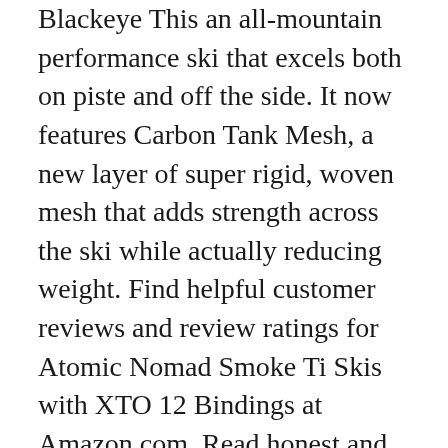Blackeye This an all-mountain performance ski that excels both on piste and off the side. It now features Carbon Tank Mesh, a new layer of super rigid, woven mesh that adds strength across the ski while actually reducing weight. Find helpful customer reviews and review ratings for Atomic Nomad Smoke Ti Skis with XTO 12 Bindings at Amazon.com. Read honest and unbiased product reviews from our users.
Read the Review Transcript: Hi, I'm Andy and I just skied the Atomic Nomad Crimson Ti. I gave this ski 5 stars out of 5. This is a all-mountain ski and it's designed for the advanced to expert skier that is looking to go fast all over the mountain. 04 Feb 2016. Ski gear reviews: men's all-mountain intermediate skis Previous slide